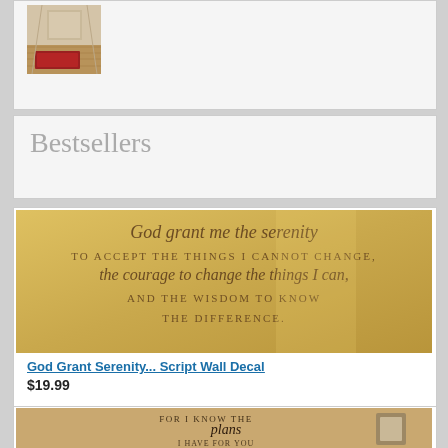[Figure (photo): Small thumbnail photo of a room interior with a red rug on a wooden floor, viewed from above/doorway angle]
Bestsellers
[Figure (photo): Wall decal photo showing 'God Grant Serenity' serenity prayer in script lettering on a golden/tan wall]
God Grant Serenity... Script Wall Decal
$19.99
[Figure (photo): Wall decal photo showing 'For I Know the plans I have for you' scripture verse (Jeremiah 29:11) in decorative script on a tan wall with a framed picture visible]